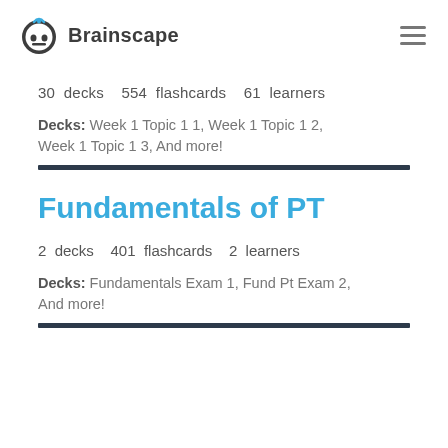Brainscape
30 decks   554 flashcards   61 learners
Decks: Week 1 Topic 1 1, Week 1 Topic 1 2, Week 1 Topic 1 3, And more!
Fundamentals of PT
2 decks   401 flashcards   2 learners
Decks: Fundamentals Exam 1, Fund Pt Exam 2, And more!